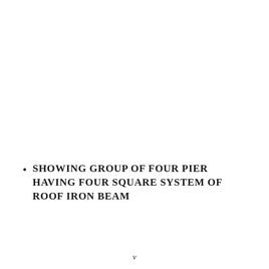SHOWING GROUP OF FOUR PIER HAVING FOUR SQUARE SYSTEM OF ROOF IRON BEAM
v